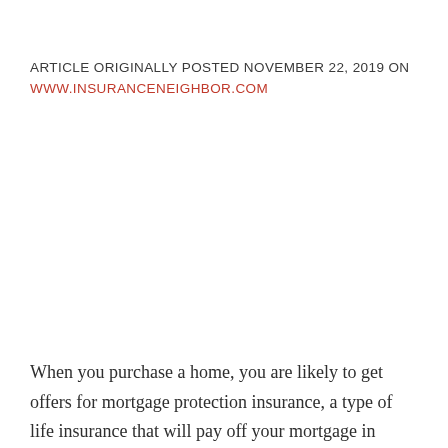ARTICLE ORIGINALLY POSTED NOVEMBER 22, 2019 ON WWW.INSURANCENEIGHBOR.COM
When you purchase a home, you are likely to get offers for mortgage protection insurance, a type of life insurance that will pay off your mortgage in